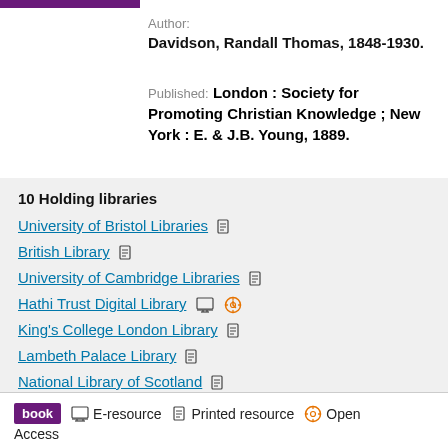Author: Davidson, Randall Thomas, 1848-1930.
Published: London : Society for Promoting Christian Knowledge ; New York : E. & J.B. Young, 1889.
10 Holding libraries
University of Bristol Libraries
British Library
University of Cambridge Libraries
Hathi Trust Digital Library
King's College London Library
Lambeth Palace Library
National Library of Scotland
Show 3 more...
book  E-resource  Printed resource  Open Access